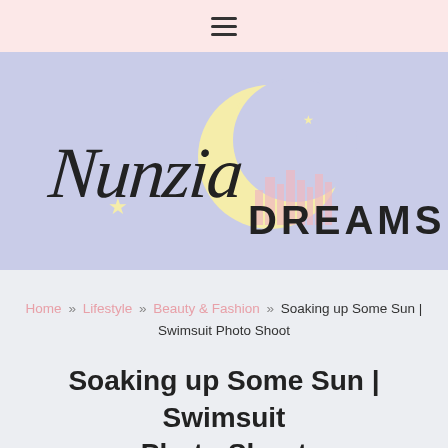≡ (hamburger menu)
[Figure (logo): Nunzia Dreams blog logo: cursive 'Nunzia' text with 'DREAMS' in sans-serif, crescent moon in cream/yellow, decorative stars, city skyline silhouette in pink, on periwinkle/lavender background]
Home » Lifestyle » Beauty & Fashion » Soaking up Some Sun | Swimsuit Photo Shoot
Soaking up Some Sun | Swimsuit Photo Shoot